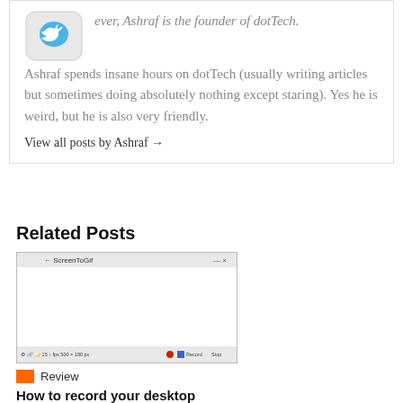ever, Ashraf is the founder of dotTech. Ashraf spends insane hours on dotTech (usually writing articles but sometimes doing absolutely nothing except staring). Yes he is weird, but he is also very friendly.
View all posts by Ashraf →
Related Posts
[Figure (screenshot): Screenshot of ScreenToGif application window with a blank recording area and toolbar at the bottom showing Record and Stop buttons.]
Review
How to record your desktop screen, edit and export like a pro with ScreenToGif [Windows]